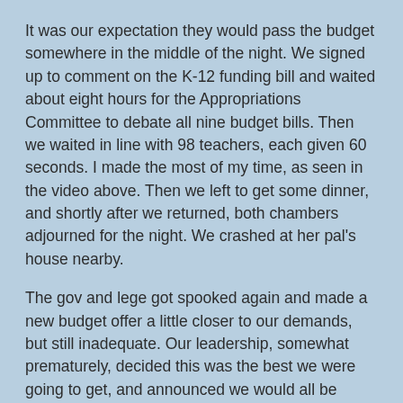It was our expectation they would pass the budget somewhere in the middle of the night. We signed up to comment on the K-12 funding bill and waited about eight hours for the Appropriations Committee to debate all nine budget bills. Then we waited in line with 98 teachers, each given 60 seconds. I made the most of my time, as seen in the video above. Then we left to get some dinner, and shortly after we returned, both chambers adjourned for the night. We crashed at her pal's house nearby.
The gov and lege got spooked again and made a new budget offer a little closer to our demands, but still inadequate. Our leadership, somewhat prematurely, decided this was the best we were going to get, and announced we would all be heading back to work when the budget passed. That's when the lege started dragging their feet and bringing up poison pills. By day five our crowds were much smaller, but still impressive.
[Figure (photo): Outdoor photo showing a building with red and white striped awning/roof and another building in the background]